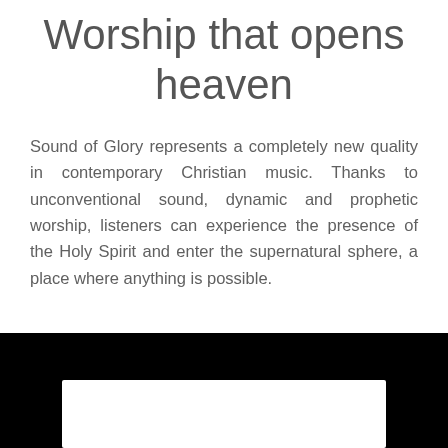Worship that opens heaven
Sound of Glory represents a completely new quality in contemporary Christian music. Thanks to unconventional sound, dynamic and prophetic worship, listeners can experience the presence of the Holy Spirit and enter the supernatural sphere, a place where anything is possible.
[Figure (other): Black band at bottom of page with a white rectangle box inset, likely a video player or embed placeholder]